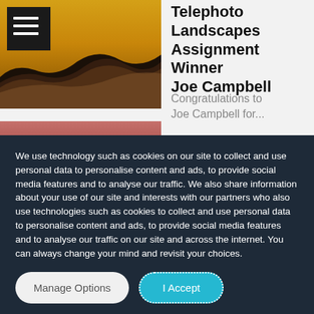[Figure (photo): Layered mountain landscape silhouette in golden, brown, and black tones with a hamburger menu icon overlay in top left]
Telephoto Landscapes Assignment Winner Joe Campbell
Congratulations to Joe Campbell for...
[Figure (photo): Partial view of a reddish-pink toned photograph strip]
We use technology such as cookies on our site to collect and use personal data to personalise content and ads, to provide social media features and to analyse our traffic. We also share information about your use of our site and interests with our partners who also use technologies such as cookies to collect and use personal data to personalise content and ads, to provide social media features and to analyse our traffic on our site and across the internet. You can always change your mind and revisit your choices.
Manage Options
I Accept